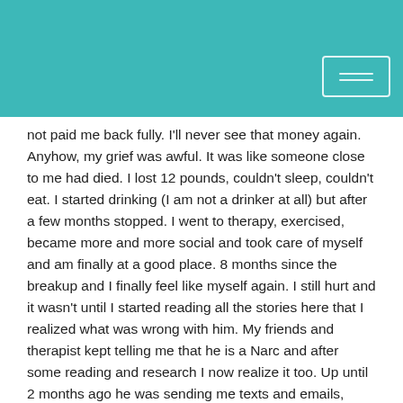[Figure (other): Teal/turquoise header bar with a rectangular button outline in the top right corner containing two horizontal lines (menu or login button)]
not paid me back fully. I'll never see that money again. Anyhow, my grief was awful. It was like someone close to me had died. I lost 12 pounds, couldn't sleep, couldn't eat. I started drinking (I am not a drinker at all) but after a few months stopped. I went to therapy, exercised, became more and more social and took care of myself and am finally at a good place. 8 months since the breakup and I finally feel like myself again. I still hurt and it wasn't until I started reading all the stories here that I realized what was wrong with him. My friends and therapist kept telling me that he is a Narc and after some reading and research I now realize it too. Up until 2 months ago he was sending me texts and emails, wanting to talk, wanting to be my friend (NO WAY!!). I broke NC only to tell him to stop contacting me and to pay me back.